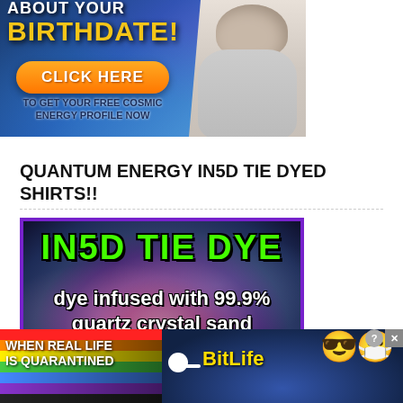[Figure (advertisement): Cosmic energy profile ad with text 'About Your BIRTHDATE!' in yellow bold font on dark blue background, orange 'CLICK HERE' button, text 'TO GET YOUR FREE COSMIC ENERGY PROFILE NOW' in dark blue bold, and a woman in grey sweater on the right side.]
QUANTUM ENERGY IN5D TIE DYED SHIRTS!!
[Figure (advertisement): IN5D Tie Dye advertisement with purple border, black background, neon green bold text 'IN5D TIE DYE', white bold text 'dye infused with 99.9% quartz crystal sand', colorful tie dye background.]
[Figure (advertisement): BitLife mobile game ad with rainbow stripe background on left, white text 'WHEN REAL LIFE IS QUARANTINED', white sperm emoji graphic, yellow 'BitLife' text, emoji characters with star eyes and thumbs up with face mask, close button X in top right corner.]